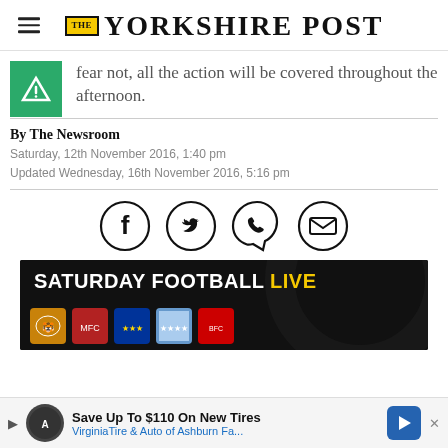THE YORKSHIRE POST
fear not, all the action will be covered throughout the afternoon.
By The Newsroom
Saturday, 12th November 2016, 1:40 pm
Updated Wednesday, 16th November 2016, 5:16 pm
[Figure (illustration): Social sharing icons: Facebook, Twitter, WhatsApp/phone, Email — four circular outlined icons in a row]
[Figure (photo): Saturday Football Live banner image with club badges on dark background with yellow LIVE text]
Save Up To $110 On New Tires
VirginiaTire & Auto of Ashburn Fa...